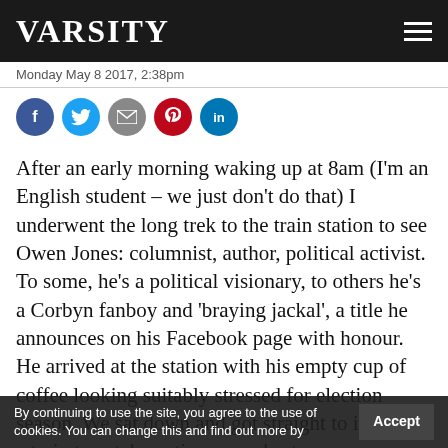VARSITY
Monday May 8 2017, 2:38pm
[Figure (infographic): Row of social media share icons: Facebook (blue), Twitter (light blue), Email (grey), Pinterest (red), LinkedIn (blue)]
After an early morning waking up at 8am (I'm an English student – we just don't do that) I underwent the long trek to the train station to see Owen Jones: columnist, author, political activist. To some, he's a political visionary, to others he's a Corbyn fanboy and 'braying jackal', a title he announces on his Facebook page with honour. He arrived at the station with his empty cup of coffee looking suitably stressed for election season. We sat down and got straight to it: he had a train to catch, so time was short.
I immediately ascertained Jones's view on the local elections. His response was very matter of fact.
By continuing to use the site, you agree to the use of cookies. You can change this and find out more by